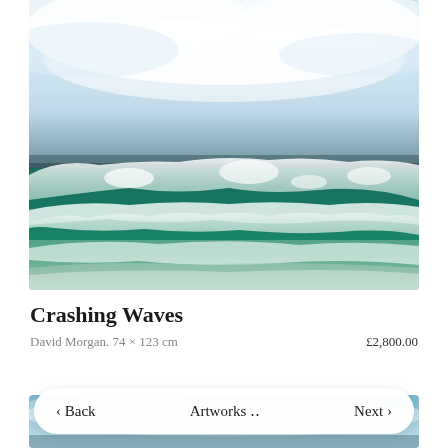[Figure (photo): Painting of crashing ocean waves with white foam and deep teal green sea water under a dramatic sky with white and blue tones. Seascape painting in oil or acrylic.]
Crashing Waves
David Morgan. 74 × 123 cm
£2,800.00
[Figure (photo): Partial view of another painting below, showing a coastal or seascape scene in blue and sky tones, partially obscured by navigation bar.]
< Back    Artworks ..    Next >